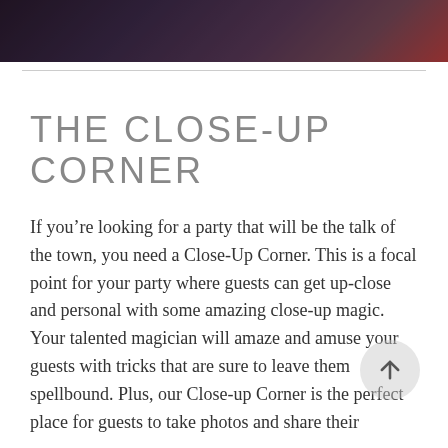[Figure (photo): Dark photo strip at the top showing people at a party, dimly lit with purple and red tones]
THE CLOSE-UP CORNER
If you’re looking for a party that will be the talk of the town, you need a Close-Up Corner. This is a focal point for your party where guests can get up-close and personal with some amazing close-up magic. Your talented magician will amaze and amuse your guests with tricks that are sure to leave them spellbound. Plus, our Close-up Corner is the perfect place for guests to take photos and share their